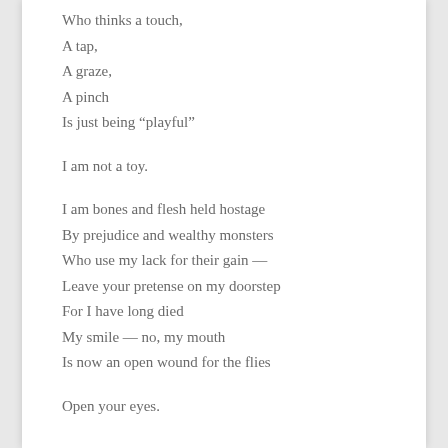Who thinks a touch,
A tap,
A graze,
A pinch
Is just being "playful"

I am not a toy.

I am bones and flesh held hostage
By prejudice and wealthy monsters
Who use my lack for their gain —
Leave your pretense on my doorstep
For I have long died
My smile — no, my mouth
Is now an open wound for the flies

Open your eyes.
I know that I said I won't let current news and affairs affect me. That